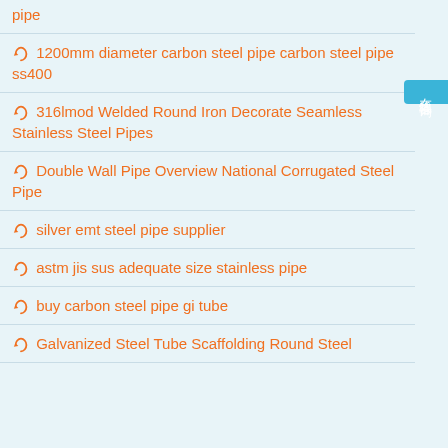pipe
1200mm diameter carbon steel pipe carbon steel pipe ss400
316lmod Welded Round Iron Decorate Seamless Stainless Steel Pipes
Double Wall Pipe Overview National Corrugated Steel Pipe
silver emt steel pipe supplier
astm jis sus adequate size stainless pipe
buy carbon steel pipe gi tube
Galvanized Steel Tube Scaffolding Round Steel